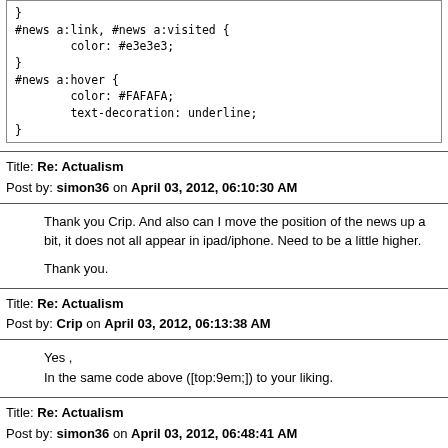[Figure (screenshot): Code snippet showing CSS rules for #news a:link, #news a:visited with color #e3e3e3, and #news a:hover with color #FAFAFA and text-decoration underline]
Title: Re: Actualism
Post by: simon36 on April 03, 2012, 06:10:30 AM
Thank you Crip. And also can I move the position of the news up a bit, it does not all appear in ipad/iphone. Need to be a little higher.

Thank you.
Title: Re: Actualism
Post by: Crip on April 03, 2012, 06:13:38 AM
Yes ,
In the same code above ([top:9em;]) to your liking.
Title: Re: Actualism
Post by: simon36 on April 03, 2012, 06:48:41 AM
Hi, what is the maximum size the logo can be please? Thank you.